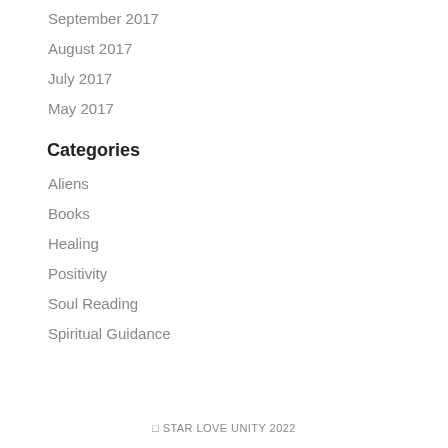September 2017
August 2017
July 2017
May 2017
Categories
Aliens
Books
Healing
Positivity
Soul Reading
Spiritual Guidance
© STAR LOVE UNITY 2022